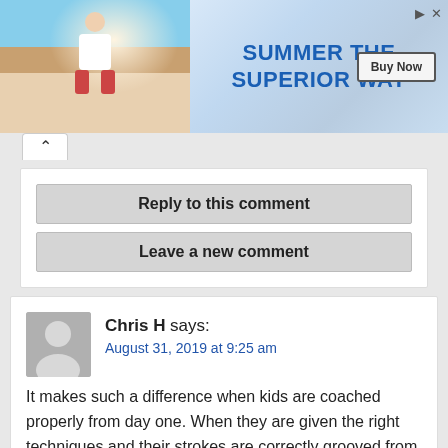[Figure (photo): Advertisement banner: photo of people at outdoor table on left, blue gradient background with 'SUMMER THE SUPERIOR WAY' text in blue and a 'Buy Now' button on right]
Reply to this comment
Leave a new comment
Chris H says:
August 31, 2019 at 9:25 am

It makes such a difference when kids are coached properly from day one. When they are given the right techniques and their strokes are correctly grooved from the beginning it almost makes for an easy game. Some of the guys I play with have poor technique and are hooking and slicing the ball all over the place and have been for the last 20 or 30 years. It's a much more enjoyable game when you stay on your own fairway and avoid the rough, bunkers, lakes and all the other hazards that you find